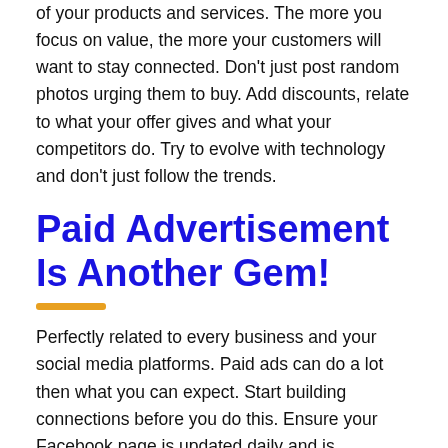of your products and services. The more you focus on value, the more your customers will want to stay connected. Don't just post random photos urging them to buy. Add discounts, relate to what your offer gives and what your competitors do. Try to evolve with technology and don't just follow the trends.
Paid Advertisement Is Another Gem!
Perfectly related to every business and your social media platforms. Paid ads can do a lot then what you can expect. Start building connections before you do this. Ensure your Facebook page is updated daily and is responsive to queries. Work on closing the bridge without destroying the actual essence of your motto. Your goal is to target a bigger pool of customers than